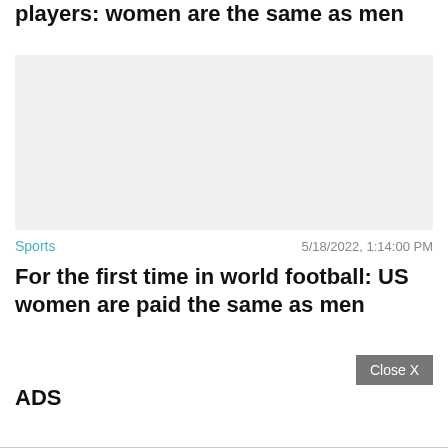players: women are the same as men
[Figure (photo): Gray placeholder image for article photo]
Sports
5/18/2022, 1:14:00 PM
For the first time in world football: US women are paid the same as men
Close X
ADS